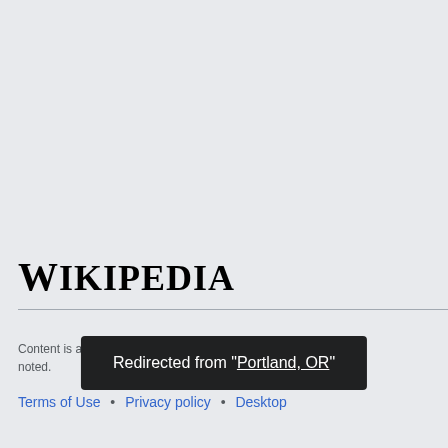[Figure (logo): Wikipedia logo text in serif font]
Content is available under CC BY-SA unless otherwise noted.
Redirected from "Portland, OR"
Terms of Use • Privacy policy • Desktop